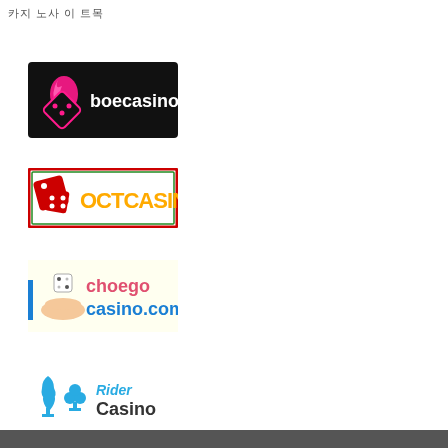카지 노사 이 트목
[Figure (logo): Boecasino logo: black background with pink flame and diamond dice icon, white text 'boecasino']
[Figure (logo): OCTCASINO logo: white background with red/green border, red dice, yellow-orange bold text 'OCTCASINO']
[Figure (logo): Choego Casino logo: light yellow background, blue vertical bar on left, hand holding dice, pink text 'choego' and blue text 'casino.com']
[Figure (logo): Rider Casino logo: white background, blue spade and club card suit icons, blue stylized 'Rider' text and dark gray 'Casino' text]